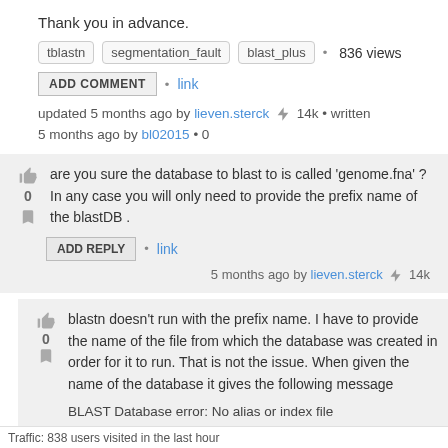Thank you in advance.
tblastn  segmentation_fault  blast_plus  • 836 views
ADD COMMENT • link
updated 5 months ago by lieven.sterck ⚡ 14k • written 5 months ago by bl02015 • 0
are you sure the database to blast to is called 'genome.fna' ? In any case you will only need to provide the prefix name of the blastDB .
ADD REPLY • link
5 months ago by lieven.sterck ⚡ 14k
blastn doesn't run with the prefix name. I have to provide the name of the file from which the database was created in order for it to run. That is not the issue. When given the name of the database it gives the following message
BLAST Database error: No alias or index file
eotide database [genome] in
Traffic: 838 users visited in the last hour